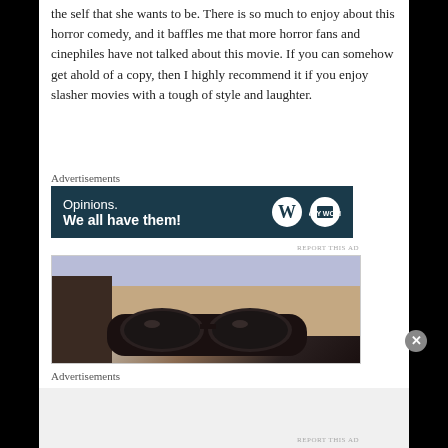the self that she wants to be. There is so much to enjoy about this horror comedy, and it baffles me that more horror fans and cinephiles have not talked about this movie. If you can somehow get ahold of a copy, then I highly recommend it if you enjoy slasher movies with a tough of style and laughter.
Advertisements
[Figure (screenshot): Advertisement banner with dark teal background. Text reads 'Opinions. We all have them!' with WordPress and another logo on the right.]
REPORT THIS AD
[Figure (photo): Close-up photo of a person wearing dark cat-eye sunglasses, partial face visible, light purple/blue background at top.]
Advertisements
REPORT THIS AD